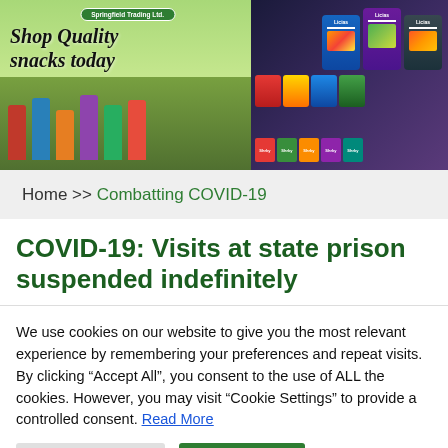[Figure (illustration): Springfield Trading Ltd banner ad showing children running outdoors with text 'Shop Quality snacks today' and snack package products including Licias brand on the right side against a dark background]
Home >> Combatting COVID-19
COVID-19: Visits at state prison suspended indefinitely
We use cookies on our website to give you the most relevant experience by remembering your preferences and repeat visits. By clicking "Accept All", you consent to the use of ALL the cookies. However, you may visit "Cookie Settings" to provide a controlled consent. Read More
Cookie Settings | Accept All